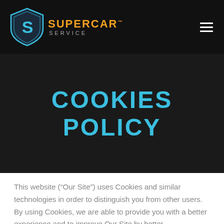[Figure (logo): Supercar Service logo: shield emblem with stylized S in cyan/blue, orange text SUPERCAR, grey text SERVICE]
COOKIES POLICY
This website (“Our Site”) uses Cookies and similar technologies in order to distinguish you from other users. By using Cookies, we are able to provide you with a better experience and to improve Our Site by better understanding how you use it. Please read this